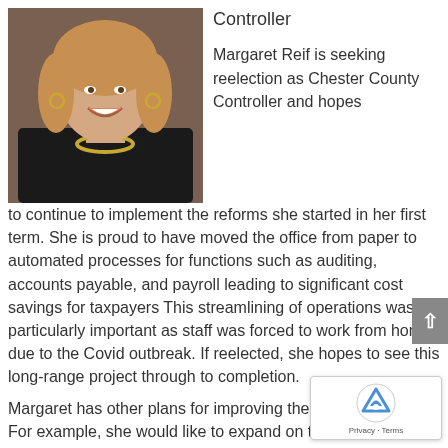Controller
[Figure (photo): Photo of Margaret Reif, a woman with blonde hair wearing a dark jacket and gold necklace, smiling.]
Margaret Reif is seeking reelection as Chester County Controller and hopes to continue to implement the reforms she started in her first term. She is proud to have moved the office from paper to automated processes for functions such as auditing, accounts payable, and payroll leading to significant cost savings for taxpayers This streamlining of operations was particularly important as staff was forced to work from home due to the Covid outbreak. If reelected, she hopes to see this long-range project through to completion.
Margaret has other plans for improving the office in future. For example, she would like to expand on the of 17 state mandated audits to include areas not